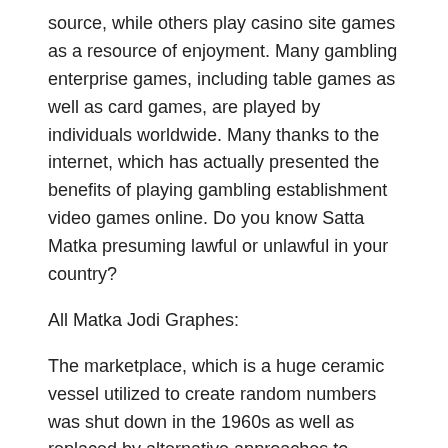source, while others play casino site games as a resource of enjoyment. Many gambling enterprise games, including table games as well as card games, are played by individuals worldwide. Many thanks to the internet, which has actually presented the benefits of playing gambling establishment video games online. Do you know Satta Matka presuming lawful or unlawful in your country?
All Matka Jodi Graphes:
The marketplace, which is a huge ceramic vessel utilized to create random numbers was shut down in the 1960s as well as replaced by alternative approaches to create arbitrary numbers. To create the Worli matka, Kalyanji Bhagat started the game in 1962. It was in 1964 that Rattan Khatri modified the video game's policies and also created"the New Worli Matka. The manipur satta result